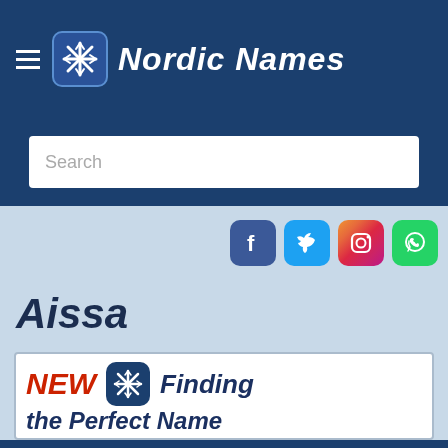Nordic Names
Search
[Figure (screenshot): Social media icons: Facebook, Twitter, Instagram, WhatsApp]
Aissa
[Figure (infographic): Advertisement banner: NEW - Finding the Perfect Name - Learn more about our new Name Finding Guide]